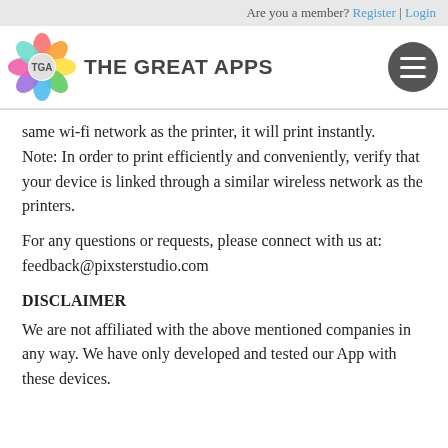Are you a member? Register | Login
[Figure (logo): The Great Apps logo with colorful flower icon and site name]
same wi-fi network as the printer, it will print instantly.
Note: In order to print efficiently and conveniently, verify that your device is linked through a similar wireless network as the printers.
For any questions or requests, please connect with us at: feedback@pixsterstudio.com
DISCLAIMER
We are not affiliated with the above mentioned companies in any way. We have only developed and tested our App with these devices.